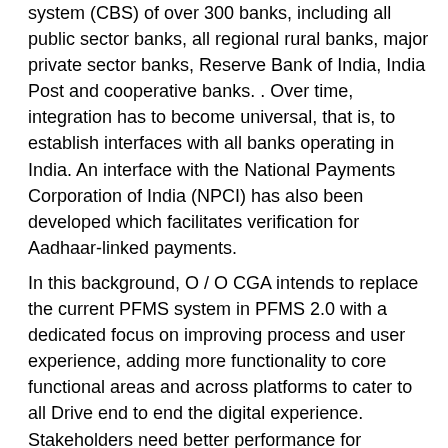system (CBS) of over 300 banks, including all public sector banks, all regional rural banks, major private sector banks, Reserve Bank of India, India Post and cooperative banks. . Over time, integration has to become universal, that is, to establish interfaces with all banks operating in India. An interface with the National Payments Corporation of India (NPCI) has also been developed which facilitates verification for Aadhaar-linked payments.
In this background, O / O CGA intends to replace the current PFMS system in PFMS 2.0 with a dedicated focus on improving process and user experience, adding more functionality to core functional areas and across platforms to cater to all Drive end to end the digital experience. Stakeholders need better performance for tomorrow's peak and non-peak loads. The following major technical areas are envisaged to address: